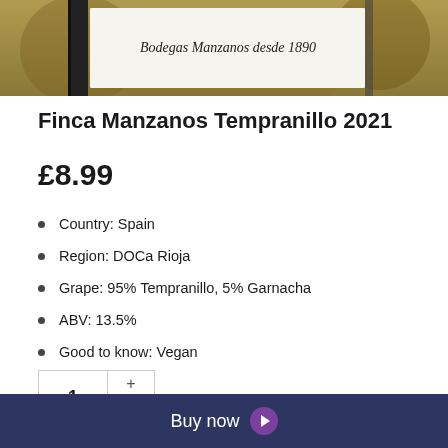[Figure (photo): Wine bottle label photo showing 'Bodegas Manzanos desde 1890' text on a white label, with blurred outdoor background]
Finca Manzanos Tempranillo 2021
£8.99
Country: Spain
Region: DOCa Rioja
Grape: 95% Tempranillo, 5% Garnacha
ABV: 13.5%
Good to know: Vegan
Buy now